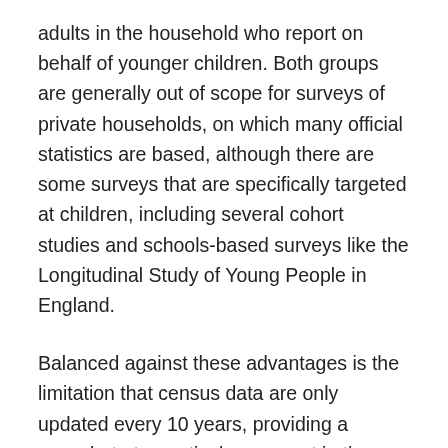adults in the household who report on behalf of younger children. Both groups are generally out of scope for surveys of private households, on which many official statistics are based, although there are some surveys that are specifically targeted at children, including several cohort studies and schools-based surveys like the Longitudinal Study of Young People in England.
Balanced against these advantages is the limitation that census data are only updated every 10 years, providing a snapshot at a particular moment in time, and the population may change considerably between censuses.